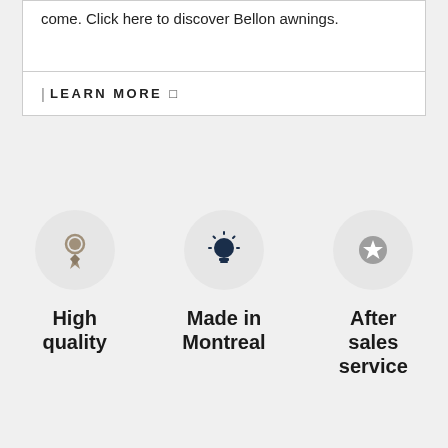come. Click here to discover Bellon awnings.
| LEARN MORE ❯
[Figure (illustration): Three circular icons with labels: a ribbon/award icon labeled 'High quality', a lightbulb icon labeled 'Made in Montreal', and a star icon labeled 'After sales service']